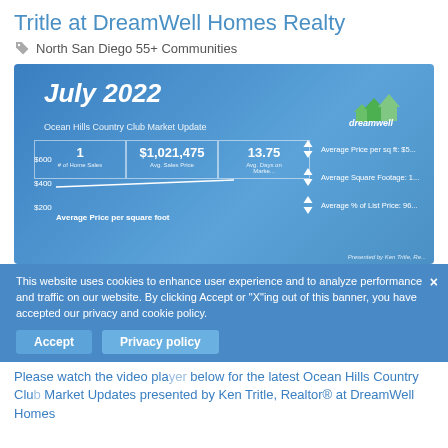Tritle at DreamWell Homes Realty
North San Diego 55+ Communities
[Figure (infographic): July 2022 Ocean Hills Country Club Market Update infographic on blue background showing: 1 home sale, $1,021,475 avg sales price, 13.75 avg days on market, average price per square foot chart ($200-$600), arrows for average price per sq ft, average square footage, average % of list price. DreamWell Homes logo top right. Presented by Ken Tritle.]
This website uses cookies to enhance user experience and to analyze performance and traffic on our website. By clicking Accept or "X"ing out of this banner, you have accepted our privacy and cookie policy.
Please watch the video player below for the latest Ocean Hills Country Club Market Updates presented by Ken Tritle, Realtor® at DreamWell Homes